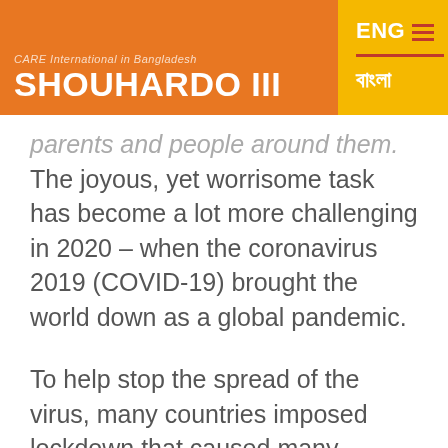SHOUHARDO III
parents and people around them. The joyous, yet worrisome task has become a lot more challenging in 2020 – when the coronavirus 2019 (COVID-19) brought the world down as a global pandemic.
To help stop the spread of the virus, many countries imposed lockdown that caused many, especially those with income in